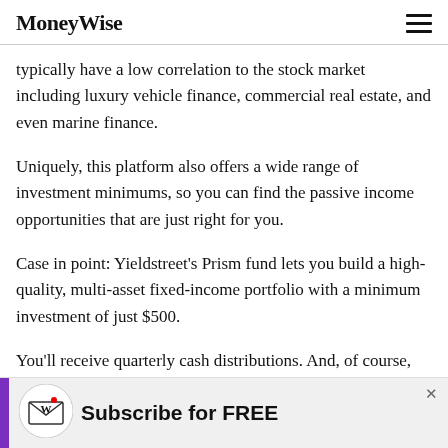MoneyWise
typically have a low correlation to the stock market including luxury vehicle finance, commercial real estate, and even marine finance.
Uniquely, this platform also offers a wide range of investment minimums, so you can find the passive income opportunities that are just right for you.
Case in point: Yieldstreet's Prism fund lets you build a high-quality, multi-asset fixed-income portfolio with a minimum investment of just $500.
You'll receive quarterly cash distributions. And, of course, you'll benefit from any long-term appreciation
[Figure (infographic): Advertisement banner with MoneyWise envelope logo and 'Subscribe for FREE' text, with purple stripe on left and X close button]